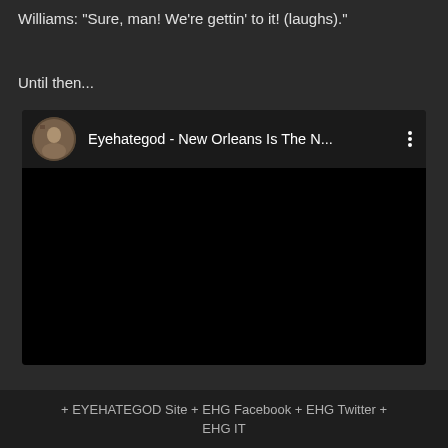Williams: "Sure, man! We're gettin' to it! (laughs)."
Until then...
[Figure (screenshot): Embedded YouTube video player showing 'Eyehategod - New Orleans Is The N...' with a sepia-toned circular avatar thumbnail and three-dot menu icon. Video body is black/empty.]
+ EYEHATEGOD Site + EHG Facebook + EHG Twitter + EHG IT